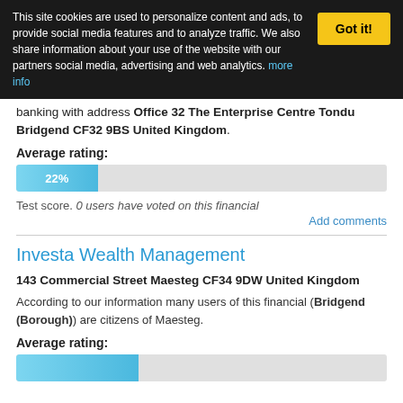This site cookies are used to personalize content and ads, to provide social media features and to analyze traffic. We also share information about your use of the website with our partners social media, advertising and web analytics. more info
banking with address Office 32 The Enterprise Centre Tondu Bridgend CF32 9BS United Kingdom.
Average rating:
[Figure (bar-chart): Average rating progress bar]
Test score. 0 users have voted on this financial
Add comments
Investa Wealth Management
143 Commercial Street Maesteg CF34 9DW United Kingdom
According to our information many users of this financial (Bridgend (Borough)) are citizens of Maesteg.
Average rating: